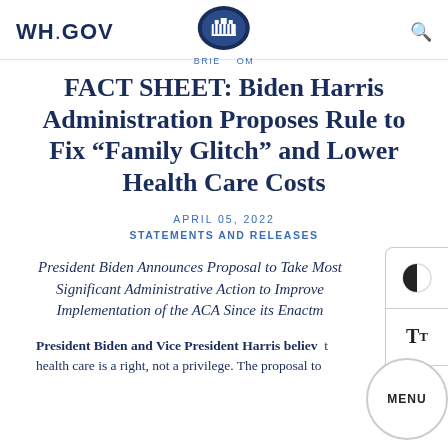WH.GOV
FACT SHEET: Biden Harris Administration Proposes Rule to Fix “Family Glitch” and Lower Health Care Costs
APRIL 05, 2022
STATEMENTS AND RELEASES
President Biden Announces Proposal to Take Most Significant Administrative Action to Improve Implementation of the ACA Since its Enactment
President Biden and Vice President Harris believe that health care is a right, not a privilege. The proposal to...